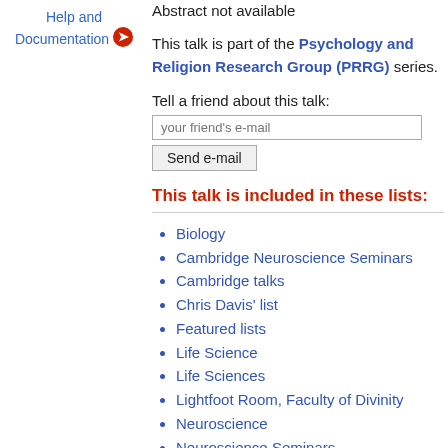Help and Documentation
Abstract not available
This talk is part of the Psychology and Religion Research Group (PRRG) series.
Tell a friend about this talk:
This talk is included in these lists:
Biology
Cambridge Neuroscience Seminars
Cambridge talks
Chris Davis' list
Featured lists
Life Science
Life Sciences
Lightfoot Room, Faculty of Divinity
Neuroscience
Neuroscience Seminars
Neuroscience Seminars